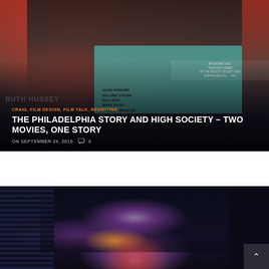[Figure (photo): Movie poster image for The Philadelphia Story showing actors in black and white against a red background, with teal promotional text panel listing John Howard, Roland Young, Halliday, Mary Nash, Virginia Weidler. Ruth Hussey name visible on left side.]
CRAIG, FILM DESIGN, FILM TALK, REVISITING
THE PHILADELPHIA STORY AND HIGH SOCIETY – TWO MOVIES, ONE STORY
ON SEPTEMBER 24, 2019  0
[Figure (photo): Dark nighttime cityscape with purple and pink glowing lights, buildings on left side, atmospheric city scene.]